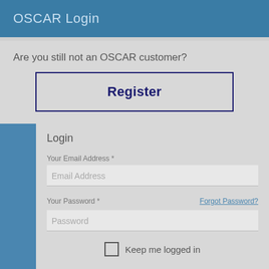OSCAR Login
Are you still not an OSCAR customer?
Register
Login
Your Email Address *
Email Address
Your Password *
Forgot Password?
Password
Keep me logged in